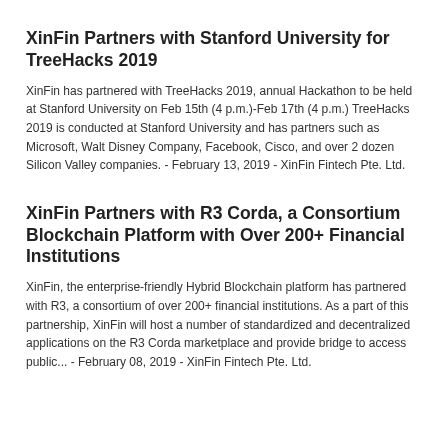XinFin Partners with Stanford University for TreeHacks 2019
XinFin has partnered with TreeHacks 2019, annual Hackathon to be held at Stanford University on Feb 15th (4 p.m.)-Feb 17th (4 p.m.) TreeHacks 2019 is conducted at Stanford University and has partners such as Microsoft, Walt Disney Company, Facebook, Cisco, and over 2 dozen Silicon Valley companies. - February 13, 2019 - XinFin Fintech Pte. Ltd.
XinFin Partners with R3 Corda, a Consortium Blockchain Platform with Over 200+ Financial Institutions
XinFin, the enterprise-friendly Hybrid Blockchain platform has partnered with R3, a consortium of over 200+ financial institutions. As a part of this partnership, XinFin will host a number of standardized and decentralized applications on the R3 Corda marketplace and provide bridge to access public... - February 08, 2019 - XinFin Fintech Pte. Ltd.